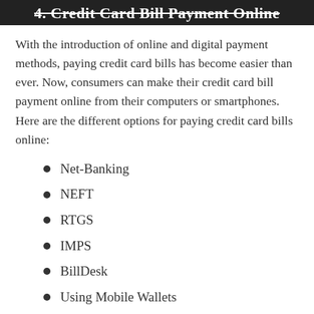4. Credit Card Bill Payment Online
With the introduction of online and digital payment methods, paying credit card bills has become easier than ever. Now, consumers can make their credit card bill payment online from their computers or smartphones. Here are the different options for paying credit card bills online:
Net-Banking
NEFT
RTGS
IMPS
BillDesk
Using Mobile Wallets